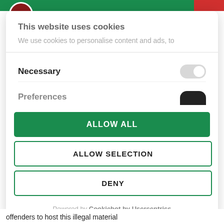This website uses cookies
We use cookies to personalise content and ads, to
Necessary
Preferences
ALLOW ALL
ALLOW SELECTION
DENY
Powered by Cookiebot by Usercentrics
offenders to host this illegal material